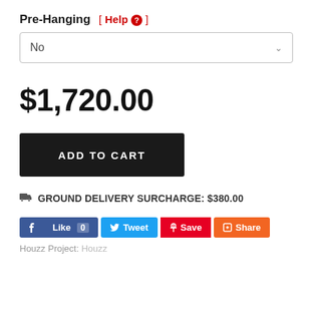Pre-Hanging  [ Help ? ]
No
$1,720.00
ADD TO CART
🚚 GROUND DELIVERY SURCHARGE: $380.00
[Figure (other): Social sharing buttons: Facebook Like 0, Tweet, Pinterest Save, Houzz Share]
Houzz Project:  Houzz